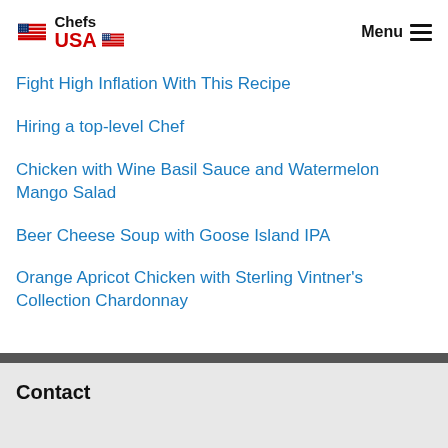[Figure (logo): Chefs USA logo with red USA text and American flag graphic]
Menu ☰
Fight High Inflation With This Recipe
Hiring a top-level Chef
Chicken with Wine Basil Sauce and Watermelon Mango Salad
Beer Cheese Soup with Goose Island IPA
Orange Apricot Chicken with Sterling Vintner's Collection Chardonnay
Contact